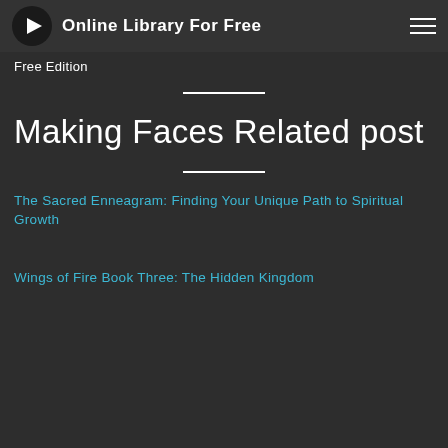Online Library For Free
Free Edition
Making Faces Related post
The Sacred Enneagram: Finding Your Unique Path to Spiritual Growth
Wings of Fire Book Three: The Hidden Kingdom